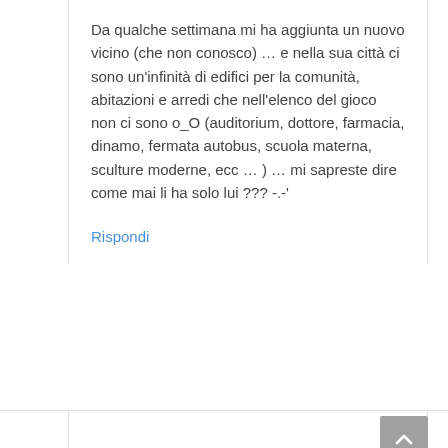Da qualche settimana mi ha aggiunta un nuovo vicino (che non conosco) … e nella sua città ci sono un'infinità di edifici per la comunità, abitazioni e arredi che nell'elenco del gioco non ci sono o_O (auditorium, dottore, farmacia, dinamo, fermata autobus, scuola materna, sculture moderne, ecc … ) … mi sapreste dire come mai li ha solo lui ??? -.-'
Rispondi